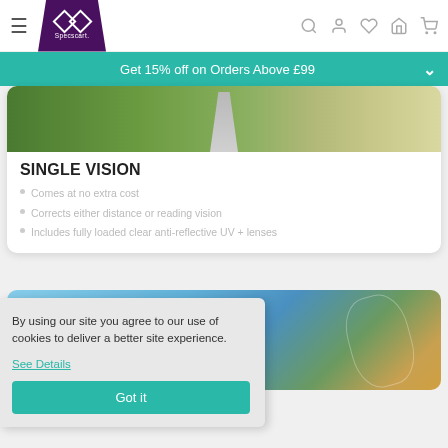Specscart navigation bar
Get 15% off on Orders Above £99
[Figure (photo): Green countryside road with trees and path]
SINGLE VISION
Comes at no extra cost
Corrects either distance or reading vision
Includes fully loaded clear anti-reflective UV + lenses
[Figure (photo): Mountain landscape with blue sky and trees, with lens overlay]
By using our site you agree to our use of cookies to deliver a better site experience.
See Details
Got it